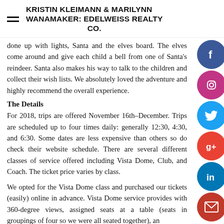KRISTIN KLEIMANN & MARILYNN WANAMAKER: EDELWEISS REALTY CO.
done up with lights, Santa and the elves board. The elves come around and give each child a bell from one of Santa's reindeer. Santa also makes his way to talk to the children and collect their wish lists. We absolutely loved the adventure and highly recommend the overall experience.
The Details
For 2018, trips are offered November 16th–December. Trips are scheduled up to four times daily: generally 12:30, 4:30, and 6:30. Some dates are less expensive than others so do check their website schedule. There are several different classes of service offered including Vista Dome, Club, and Coach. The ticket price varies by class.
We opted for the Vista Dome class and purchased our tickets (easily) online in advance. Vista Dome service provides with 360-degree views, assigned seats at a table (seats in groupings of four so we were all seated together), an